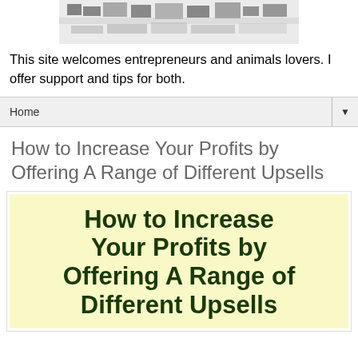[Figure (photo): Pixelated/grayscale image of an animal, partially cropped at top]
This site welcomes entrepreneurs and animals lovers. I offer support and tips for both.
Home ▼
How to Increase Your Profits by Offering A Range of Different Upsells
[Figure (illustration): Yellow background promotional image with bold dark green text reading: How to Increase Your Profits by Offering A Range of Different Upsells]